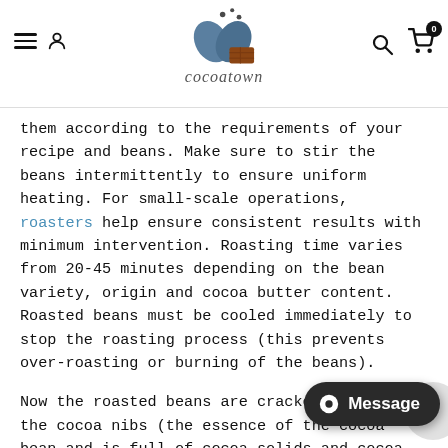cocoatown website header with navigation icons and logo
them according to the requirements of your recipe and beans. Make sure to stir the beans intermittently to ensure uniform heating. For small-scale operations, roasters help ensure consistent results with minimum intervention. Roasting time varies from 20-45 minutes depending on the bean variety, origin and cocoa butter content. Roasted beans must be cooled immediately to stop the roasting process (this prevents over-roasting or burning of the beans).
Now the roasted beans are cracked to expose the cocoa nibs (the essence of the cocoa bean and is full of cocoa solids and cocoa butter) inside the shell. Cracking the beans in a small quantity can be done using crackers, mini pre-grinders, or manually by hand peeling the shell.